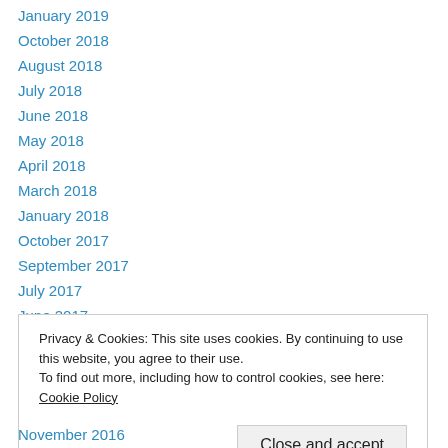January 2019
October 2018
August 2018
July 2018
June 2018
May 2018
April 2018
March 2018
January 2018
October 2017
September 2017
July 2017
June 2017
Privacy & Cookies: This site uses cookies. By continuing to use this website, you agree to their use. To find out more, including how to control cookies, see here: Cookie Policy
November 2016